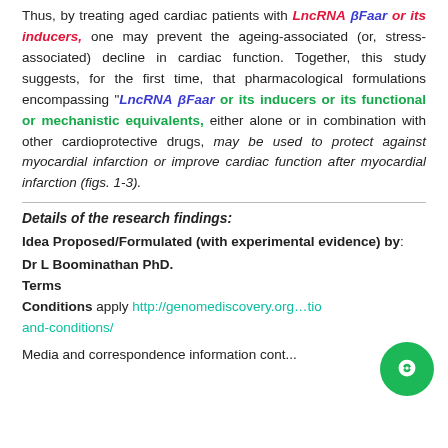Thus, by treating aged cardiac patients with LncRNA βFaar or its inducers, one may prevent the ageing-associated (or, stress-associated) decline in cardiac function. Together, this study suggests, for the first time, that pharmacological formulations encompassing "LncRNA βFaar or its inducers or its functional or mechanistic equivalents," either alone or in combination with other cardioprotective drugs, may be used to protect against myocardial infarction or improve cardiac function after myocardial infarction (figs. 1-3).
Details of the research findings:
Idea Proposed/Formulated (with experimental evidence) by:
Dr L Boominathan PhD.
Terms Conditions apply http://genomediscovery.org/terms-and-conditions/ and-conditions/
Media and correspondence information cont...